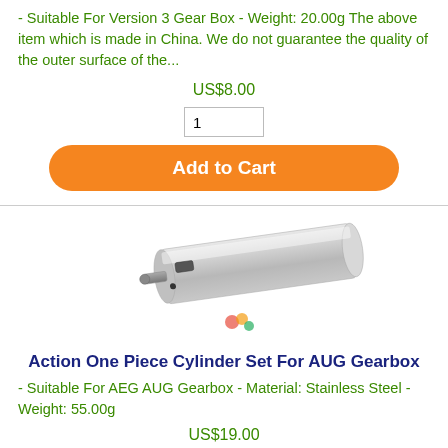- Suitable For Version 3 Gear Box - Weight: 20.00g The above item which is made in China. We do not guarantee the quality of the outer surface of the...
US$8.00
1
Add to Cart
[Figure (photo): Photo of a silver/stainless steel one-piece cylinder set for AUG gearbox, cylindrical shape with a small nozzle on one end, shown on white background with a small colorful logo watermark.]
Action One Piece Cylinder Set For AUG Gearbox
- Suitable For AEG AUG Gearbox - Material: Stainless Steel - Weight: 55.00g
US$19.00
1
Add to Cart